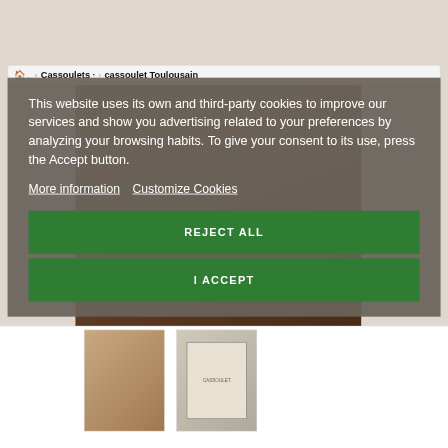[Figure (screenshot): Browser tab bar showing breadcrumb navigation: home icon, Cassoulets, cassoulet Toulousain]
This website uses its own and third-party cookies to improve our services and show you advertising related to your preferences by analyzing your browsing habits. To give your consent to its use, press the Accept button.
More information   Customize Cookies
REJECT ALL
I ACCEPT